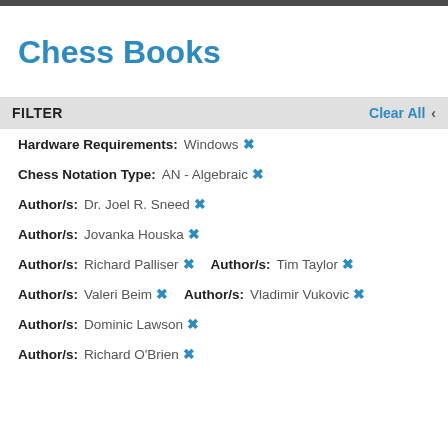Chess Books
FILTER
Clear All
Hardware Requirements: Windows ✕
Chess Notation Type: AN - Algebraic ✕
Author/s: Dr. Joel R. Sneed ✕
Author/s: Jovanka Houska ✕
Author/s: Richard Palliser ✕   Author/s: Tim Taylor ✕
Author/s: Valeri Beim ✕   Author/s: Vladimir Vukovic ✕
Author/s: Dominic Lawson ✕
Author/s: Richard O'Brien ✕